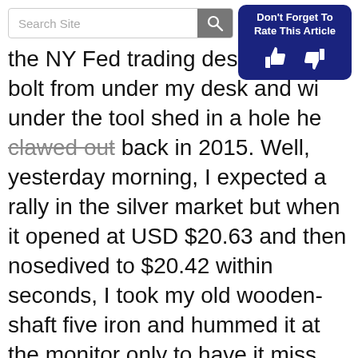Search Site [search icon] | Don't Forget To Rate This Article [thumbs up] [thumbs down]
the NY Fed trading desk) only to bolt from under my desk and wind under the tool shed in a hole he clawed out back in 2015. Well, yesterday morning, I expected a rally in the silver market but when it opened at USD $20.63 and then nosedived to $20.42 within seconds, I took my old wooden-shaft five iron and hummed it at the monitor only to have it miss the screen but take out a large bronze ornament shaped like a gong and go clattering into the corner. When Fido refused to surface from under his beloved “safe haven” despite handfuls of raw hamburger meat, it is usually because he has been suitably frightened by his lunatic master